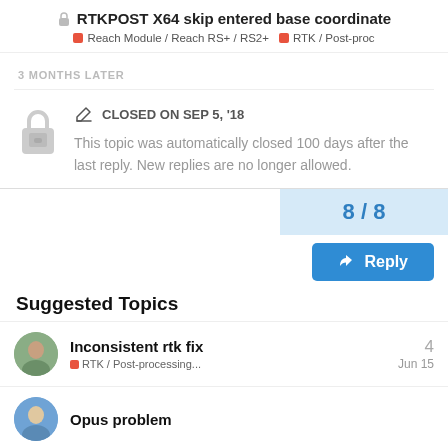🔒 RTKPOST X64 skip entered base coordinate
Reach Module / Reach RS+ / RS2+  RTK / Post-proc
3 MONTHS LATER
CLOSED ON SEP 5, '18
This topic was automatically closed 100 days after the last reply. New replies are no longer allowed.
8 / 8
Reply
Suggested Topics
Inconsistent rtk fix
RTK / Post-processing...
4
Jun 15
Opus problem